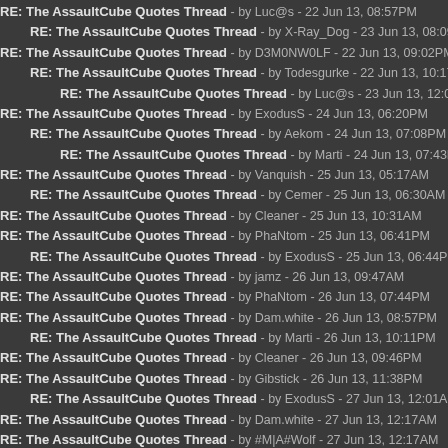RE: The AssaultCube Quotes Thread - by Luc@s - 22 Jun 13, 08:57PM
RE: The AssaultCube Quotes Thread - by X-Ray_Dog - 23 Jun 13, 08:09PM
RE: The AssaultCube Quotes Thread - by D3M0NW0LF - 22 Jun 13, 09:02PM
RE: The AssaultCube Quotes Thread - by Todesgurke - 22 Jun 13, 10:17PM
RE: The AssaultCube Quotes Thread - by Luc@s - 23 Jun 13, 12:09AM
RE: The AssaultCube Quotes Thread - by ExodusS - 24 Jun 13, 06:20PM
RE: The AssaultCube Quotes Thread - by Aekom - 24 Jun 13, 07:08PM
RE: The AssaultCube Quotes Thread - by Marti - 24 Jun 13, 07:43PM
RE: The AssaultCube Quotes Thread - by Vanquish - 25 Jun 13, 05:17AM
RE: The AssaultCube Quotes Thread - by Cemer - 25 Jun 13, 06:30AM
RE: The AssaultCube Quotes Thread - by Cleaner - 25 Jun 13, 10:31AM
RE: The AssaultCube Quotes Thread - by PhaNtom - 25 Jun 13, 06:41PM
RE: The AssaultCube Quotes Thread - by ExodusS - 25 Jun 13, 06:44PM
RE: The AssaultCube Quotes Thread - by jamz - 26 Jun 13, 09:47AM
RE: The AssaultCube Quotes Thread - by PhaNtom - 26 Jun 13, 07:44PM
RE: The AssaultCube Quotes Thread - by Dam.white - 26 Jun 13, 08:57PM
RE: The AssaultCube Quotes Thread - by Marti - 26 Jun 13, 10:11PM
RE: The AssaultCube Quotes Thread - by Cleaner - 26 Jun 13, 09:46PM
RE: The AssaultCube Quotes Thread - by Gibstick - 26 Jun 13, 11:38PM
RE: The AssaultCube Quotes Thread - by ExodusS - 27 Jun 13, 12:01AM
RE: The AssaultCube Quotes Thread - by Dam.white - 27 Jun 13, 12:17AM
RE: The AssaultCube Quotes Thread - by #M|A#Wolf - 27 Jun 13, 12:17AM
RE: The AssaultCube Quotes Thread - by Ronald_Reagan - 27 Jun 13, 06:14P
RE: The AssaultCube Quotes Thread - by DrauL - 28 Jun 13, 04:38AM
RE: The AssaultCube Quotes Thread - by ...